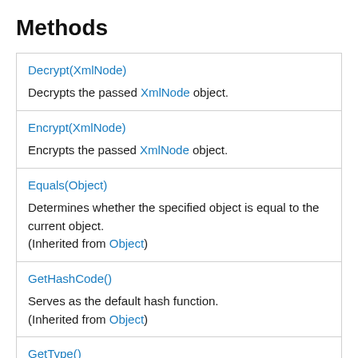Methods
| Method | Description |
| --- | --- |
| Decrypt(XmlNode) | Decrypts the passed XmlNode object. |
| Encrypt(XmlNode) | Encrypts the passed XmlNode object. |
| Equals(Object) | Determines whether the specified object is equal to the current object.
(Inherited from Object) |
| GetHashCode() | Serves as the default hash function.
(Inherited from Object) |
| GetType() | Gets the Type of the current instance. |